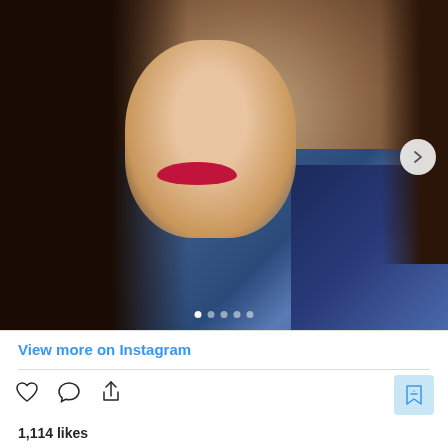[Figure (photo): Instagram post screenshot showing a young woman with long dark brown hair, blue eyes, red lips, wearing a denim jacket, taking a selfie against a white wall background. Carousel indicator dots visible at bottom. Navigation arrow on right side.]
View more on Instagram
1,114 likes